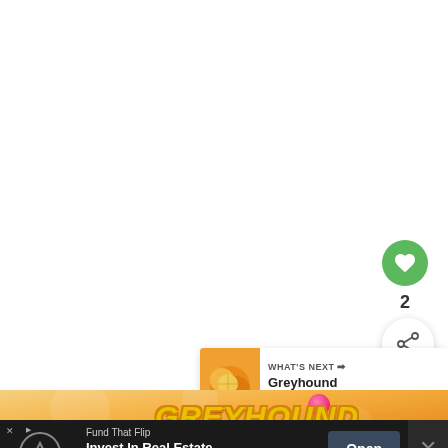[Figure (screenshot): Mobile app screenshot showing a white content area with a green heart/like button showing count of 2, a share button, a 'WHAT'S NEXT' panel featuring Greyhound Drink article preview, a partial bottom image with Greyhound branding in yellow outlined italic text on a golden background, and a dark advertisement bar at the bottom for 'Fund That Flip – Invest In Real Estate Online' with an Open button and close X.]
2
WHAT'S NEXT → Greyhound Drink (Gin...
GREYHOUND
Fund That Flip
Invest In Real Estate Online
Open